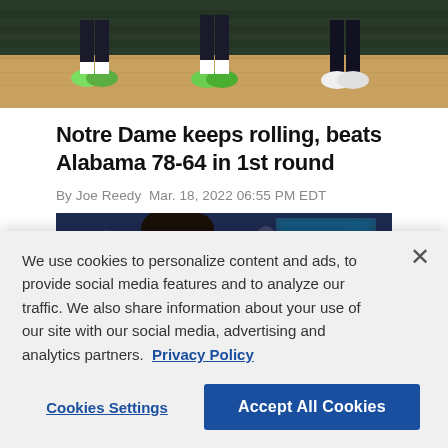[Figure (photo): Top portion of a sports photo showing basketball players' legs and shoes on a hardwood court, with bleachers in the background.]
Notre Dame keeps rolling, beats Alabama 78-64 in 1st round
By Joe Reedy  Mar. 18, 2022 06:55 PM EDT
[Figure (photo): Basketball players on court, close-up of two players — one with curly hair and one with braids — during a game, with a blurred crowd in background.]
We use cookies to personalize content and ads, to provide social media features and to analyze our traffic. We also share information about your use of our site with our social media, advertising and analytics partners.  Privacy Policy
Cookies Settings
Accept All Cookies